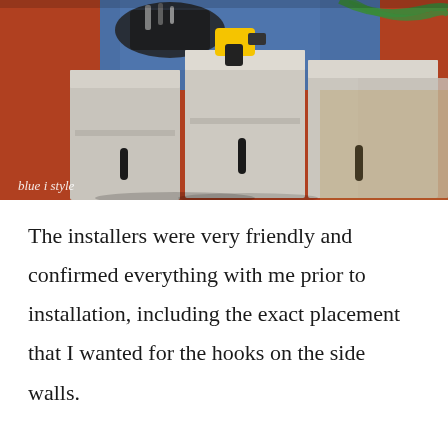[Figure (photo): Photo of gray flat-pack cabinet units assembled on a red carpet floor with a yellow DeWalt drill on top of one unit, blue tarp and tool bag visible in background. Watermark reads 'blue i style'.]
The installers were very friendly and confirmed everything with me prior to installation, including the exact placement that I wanted for the hooks on the side walls.